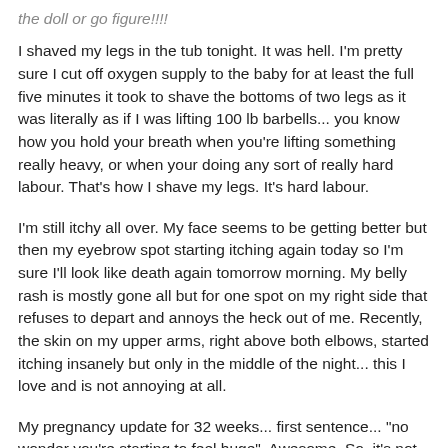the doll or go figure!!!!
I shaved my legs in the tub tonight. It was hell. I'm pretty sure I cut off oxygen supply to the baby for at least the full five minutes it took to shave the bottoms of two legs as it was literally as if I was lifting 100 lb barbells... you know how you hold your breath when you're lifting something really heavy, or when your doing any sort of really hard labour. That's how I shave my legs. It's hard labour.
I'm still itchy all over. My face seems to be getting better but then my eyebrow spot starting itching again today so I'm sure I'll look like death again tomorrow morning. My belly rash is mostly gone all but for one spot on my right side that refuses to depart and annoys the heck out of me. Recently, the skin on my upper arms, right above both elbows, started itching insanely but only in the middle of the night... this I love and is not annoying at all.
My pregnancy update for 32 weeks... first sentence... "no wonder you're starting to feel huge". Awesome. So, it's not just me.